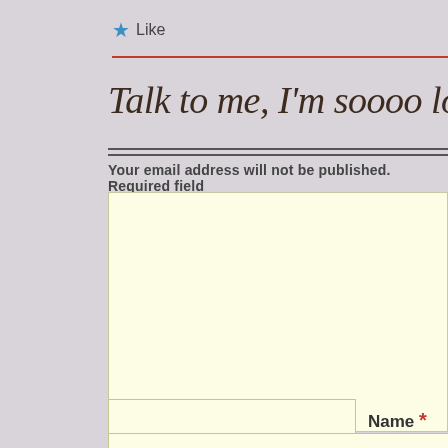★ Like
Talk to me, I'm soooo lonely...
Your email address will not be published. Required field
[Figure (other): Large light yellow comment textarea input box]
Name *
[Figure (other): Light yellow input field for Name with required asterisk label]